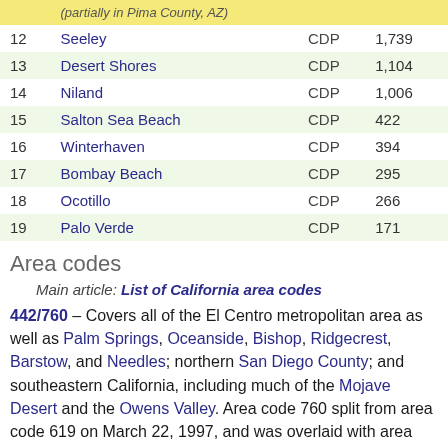| # | Name | Type | Population |
| --- | --- | --- | --- |
| 12 | Seeley | CDP | 1,739 |
| 13 | Desert Shores | CDP | 1,104 |
| 14 | Niland | CDP | 1,006 |
| 15 | Salton Sea Beach | CDP | 422 |
| 16 | Winterhaven | CDP | 394 |
| 17 | Bombay Beach | CDP | 295 |
| 18 | Ocotillo | CDP | 266 |
| 19 | Palo Verde | CDP | 171 |
Area codes
Main article: List of California area codes
442/760 – Covers all of the El Centro metropolitan area as well as Palm Springs, Oceanside, Bishop, Ridgecrest, Barstow, and Needles; northern San Diego County; and southeastern California, including much of the Mojave Desert and the Owens Valley. Area code 760 split from area code 619 on March 22, 1997, and was overlaid with area code 442 in 2009.